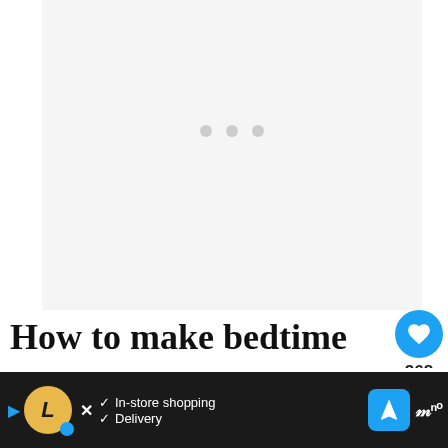[Figure (other): Gray placeholder ad/image area with three loading dots]
How to make bedtime easy
There is usually some crying involved sleep training, and that is why it is not co...
[Figure (infographic): WHAT'S NEXT panel with thumbnail and text 'Are Montessori...']
[Figure (infographic): Bottom ad banner: In-store shopping / Delivery with logos]